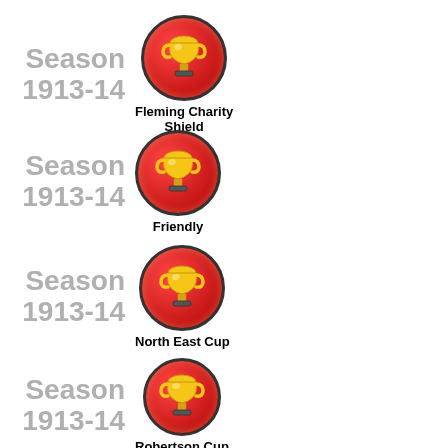Season 1913-14
[Figure (illustration): Trophy icon in red circle - Fleming Charity Shield]
Fleming Charity Shield
Season 1913-14
[Figure (illustration): Trophy icon in red circle - Friendly]
Friendly
Season 1913-14
[Figure (illustration): Trophy icon in red circle - North East Cup]
North East Cup
Season 1913-14
[Figure (illustration): Trophy icon in red circle - Robertson Cup]
Robertson Cup
Season 1912-13
[Figure (illustration): Trophy icon in red circle]